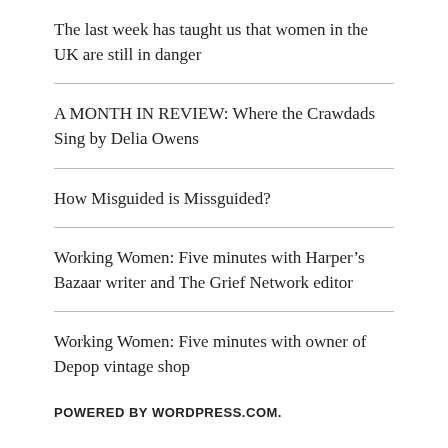The last week has taught us that women in the UK are still in danger
A MONTH IN REVIEW: Where the Crawdads Sing by Delia Owens
How Misguided is Missguided?
Working Women: Five minutes with Harper’s Bazaar writer and The Grief Network editor
Working Women: Five minutes with owner of Depop vintage shop
POWERED BY WORDPRESS.COM.